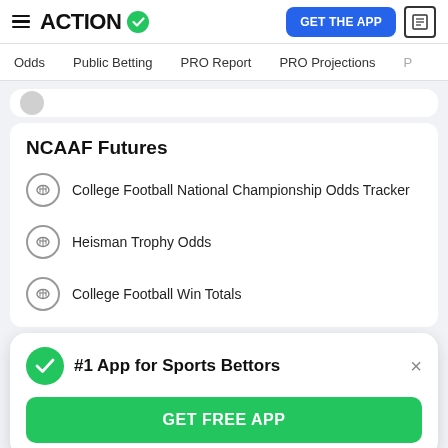ACTION — GET THE APP
Odds  Public Betting  PRO Report  PRO Projections
NCAAF Futures
College Football National Championship Odds Tracker
Heisman Trophy Odds
College Football Win Totals
#1 App for Sports Bettors
GET FREE APP
Big Ten Conference Odds